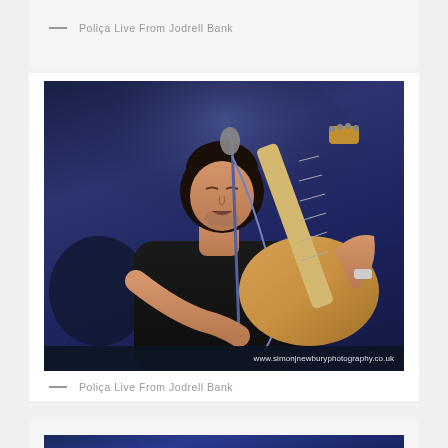Poliça Live From Jodrell Bank
[Figure (photo): Concert photograph of a male guitarist/vocalist performing on stage at night, playing a light-colored electric bass guitar, wearing a black t-shirt, singing into a microphone, against a dark blue stage background. Watermark: www.simonjnewburyphotography.co.uk]
Poliça Live From Jodrell Bank
[Figure (photo): Partial view of another concert photograph at the bottom of the page, dark blue toned stage scene]